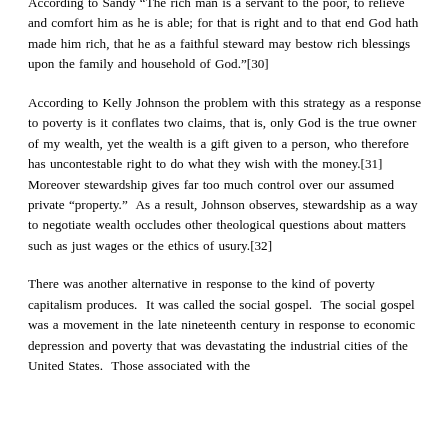way for Christians to care for the poor, it was Archbishop Sandy that was the first to state the fundamental idea that defined stewardship. According to Sandy “The rich man is a servant to the poor, to relieve and comfort him as he is able; for that is right and to that end God hath made him rich, that he as a faithful steward may bestow rich blessings upon the family and household of God.”[30]
According to Kelly Johnson the problem with this strategy as a response to poverty is it conflates two claims, that is, only God is the true owner of my wealth, yet the wealth is a gift given to a person, who therefore has uncontestable right to do what they wish with the money.[31] Moreover stewardship gives far too much control over our assumed private “property.” As a result, Johnson observes, stewardship as a way to negotiate wealth occludes other theological questions about matters such as just wages or the ethics of usury.[32]
There was another alternative in response to the kind of poverty capitalism produces. It was called the social gospel. The social gospel was a movement in the late nineteenth century in response to economic depression and poverty that was devastating the industrial cities of the United States. Those associated with the